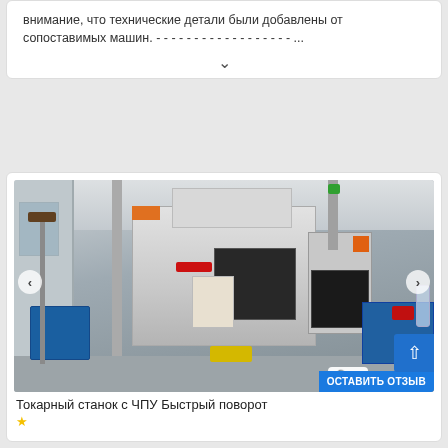внимание, что технические детали были добавлены от сопоставимых машин. - - - - - - - - - - - - - - - - - - ...
[Figure (photo): CNC lathe machine (токарный станок с ЧПУ) in an industrial workshop, with a blue cart on the left, broom, yellow foot pedal, and control panel on the right side.]
⊕ 7   ОСТАВИТЬ ОТЗЫВ
Токарный станок с ЧПУ Быстрый поворот